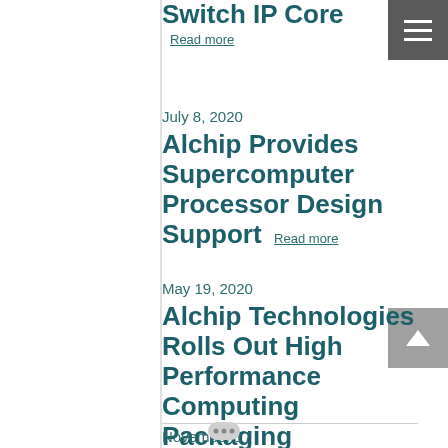Switch IP Core Read more
July 8, 2020
Alchip Provides Supercomputer Processor Design Support Read more
May 19, 2020
Alchip Technologies Rolls Out High Performance Computing Packaging Capability Read more
November 17